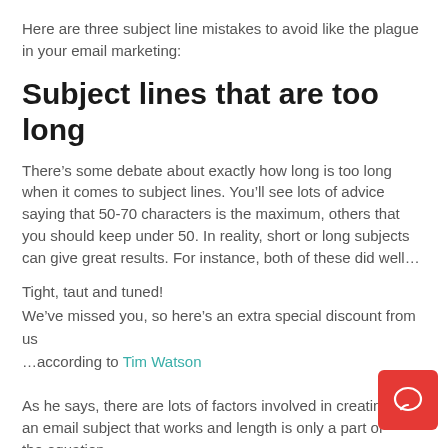Here are three subject line mistakes to avoid like the plague in your email marketing:
Subject lines that are too long
There’s some debate about exactly how long is too long when it comes to subject lines. You’ll see lots of advice saying that 50-70 characters is the maximum, others that you should keep under 50. In reality, short or long subjects can give great results. For instance, both of these did well…
Tight, taut and tuned!
We’ve missed you, so here’s an extra special discount from us
…according to Tim Watson
As he says, there are lots of factors involved in creating an email subject that works and length is only a part of the equation.